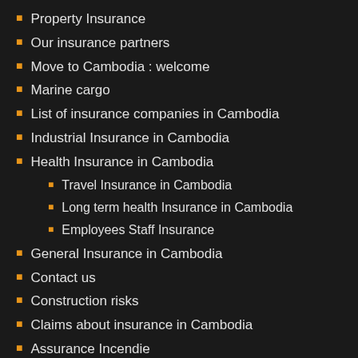Property Insurance
Our insurance partners
Move to Cambodia : welcome
Marine cargo
List of insurance companies in Cambodia
Industrial Insurance in Cambodia
Health Insurance in Cambodia
Travel Insurance in Cambodia
Long term health Insurance in Cambodia
Employees Staff Insurance
General Insurance in Cambodia
Contact us
Construction risks
Claims about insurance in Cambodia
Assurance Incendie
About us : AG Cambodia since 2006
OUR BLOG